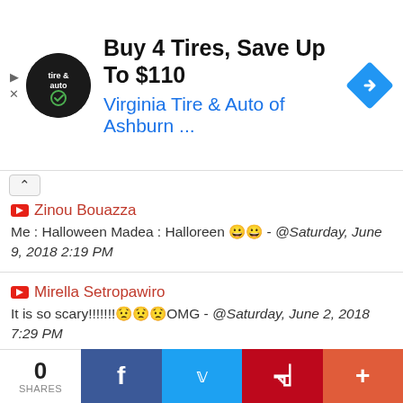[Figure (screenshot): Advertisement banner: Buy 4 Tires, Save Up To $110 - Virginia Tire & Auto of Ashburn ...]
Zinou Bouazza
Me : Halloween Madea : Halloreen 😁😁 - @Saturday, June 9, 2018 2:19 PM
Mirella Setropawiro
It is so scary!!!!!!!😯😯😯OMG - @Saturday, June 2, 2018 7:29 PM
Lashunda Johnson
♥😸😸😁‼😸😸😊‼‼😧😊😊😊😊😊😁♥‼😊‼😁😁😊😁
0 SHARES | Facebook | Twitter | Pinterest | More